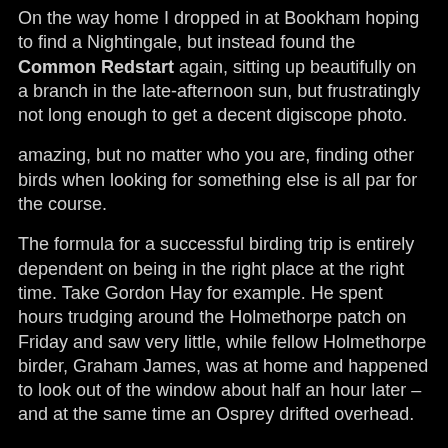On the way home I dropped in at Bookham hoping to find a Nightingale, but instead found the Common Redstart again, sitting up beautifully on a branch in the late-afternoon sun, but frustratingly not long enough to get a decent digiscope photo.
amazing, but no matter who you are, finding other birds when looking for something else is all par for the course.
The formula for a successful birding trip is entirely dependent on being in the right place at the right time. Take Gordon Hay for example. He spent hours trudging around the Holmethorpe patch on Friday and saw very little, while fellow Holmethorpe birder, Graham James, was at home and happened to look out of the window about half an hour later – and at the same time an Osprey drifted overhead.
The weekend was another case in point. Grasshopper Warblers were found at Beddington and at Staines Moor. Adrian Luscombe had a brilliant day yesterday, seeing a Gropper really well, a Whinchat, Common Redstart, loads of Yellow Wagtail, three Cuckoo and a Hobby. Not a bad haul at